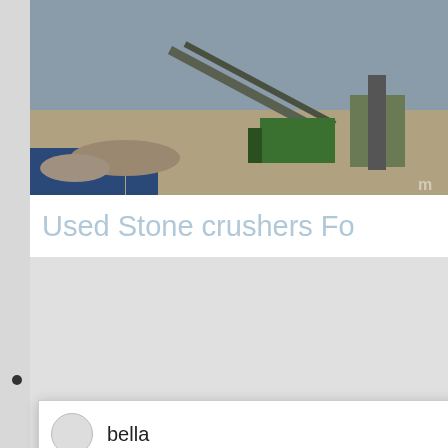[Figure (photo): Aerial/ground view of stone crushing machinery and equipment at a quarry site, with conveyor belts, green machinery, blue shipping containers]
Used Stone crushers Fo
[Figure (photo): Close-up of a woman's face (chat avatar), partially visible]
[Figure (screenshot): Chat popup with avatar labeled 'bella' and message: Welcome to Liming Heavy Industry! Now our on-line service is chatting with you! please choose: 1.English]
Added this on: 26/03/2021 - For sale / Offers -
STEINSAMMLER IKAS - 26/03/2021 - Us
CHAT ONLINE
Have any requests, click here
1
Enquiry
limingjlmofen@sina.com
[Figure (photo): Stone crushing plant machinery against a blue sky background]